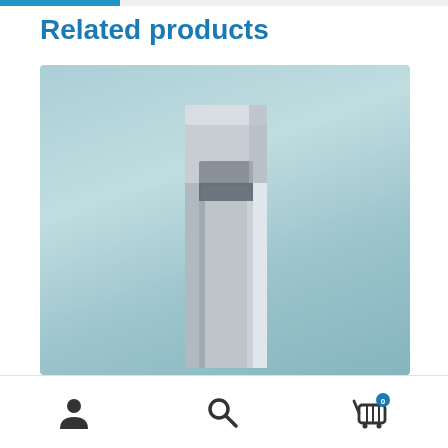Related products
[Figure (photo): Product photo showing a square aluminum/steel hollow post/tube with a square end cap floating above it, ready to be inserted. The post is silver/gray colored, tall and narrow, shown against a teal-green gradient background.]
Navigation bar with user icon, search icon, and shopping cart icon with badge showing 0